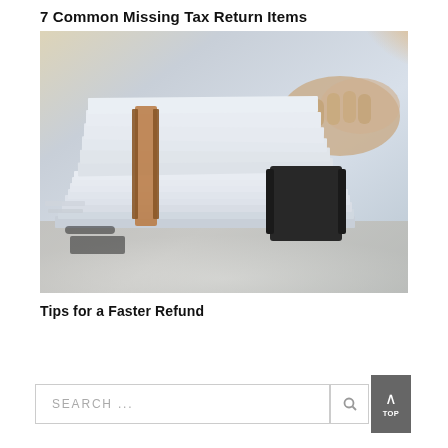7 Common Missing Tax Return Items
[Figure (photo): Stack of paper documents with binder clips on a desk, person's hands visible in background, warm orange glow from upper right]
Tips for a Faster Refund
SEARCH ...